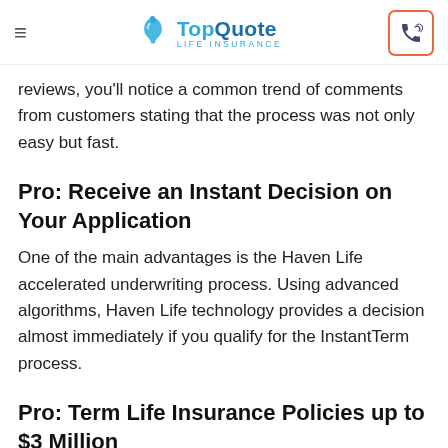TopQuote Life Insurance
reviews, you'll notice a common trend of comments from customers stating that the process was not only easy but fast.
Pro: Receive an Instant Decision on Your Application
One of the main advantages is the Haven Life accelerated underwriting process. Using advanced algorithms, Haven Life technology provides a decision almost immediately if you qualify for the InstantTerm process.
Pro: Term Life Insurance Policies up to $3 Million